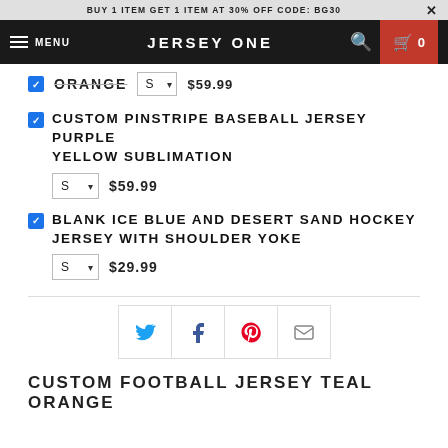BUY 1 ITEM GET 1 ITEM AT 30% OFF CODE: BG30
JERSEY ONE
ORANGE  S  $59.99
CUSTOM PINSTRIPE BASEBALL JERSEY PURPLE YELLOW SUBLIMATION  S  $59.99
BLANK ICE BLUE AND DESERT SAND HOCKEY JERSEY WITH SHOULDER YOKE  S  $29.99
[Figure (infographic): Social share buttons: Twitter, Facebook, Pinterest, Email]
CUSTOM FOOTBALL JERSEY TEAL ORANGE